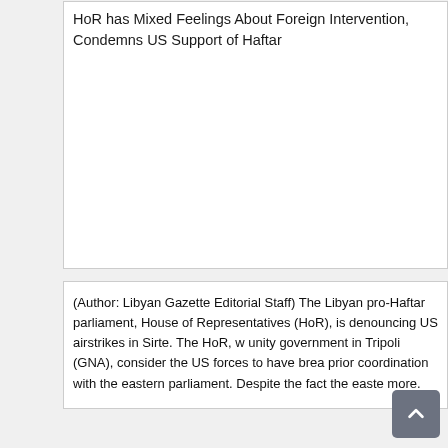[Figure (other): Broken image placeholder with alt text: HoR has Mixed Feelings About Foreign Intervention, Condemns US Support of Haftar]
(Author: Libyan Gazette Editorial Staff) The Libyan pro-Haftar parliament, House of Representatives (HoR), is denouncing US airstrikes in Sirte. The HoR, which opposes the unity government in Tripoli (GNA), consider the US forces to have breached sovereignty without prior coordination with the eastern parliament. Despite the fact the eastern... read more.
[Figure (other): Empty white card placeholder]
Migration: